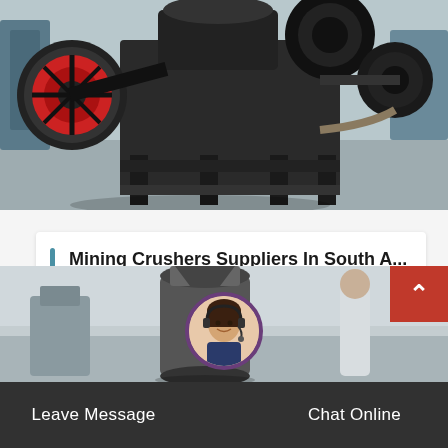[Figure (photo): Industrial mining crusher machinery in a factory setting, showing heavy black metal equipment with red wheel on the left and belt/pulley system on the right, on a concrete floor.]
Mining Crushers Suppliers In South A...
Mining crushers suppliers in south africa supplymine find mining crushers suppliers in south africa search…
[Figure (photo): Second industrial machinery photo showing large dark cylindrical equipment in a warehouse/factory setting.]
Leave Message
Chat Online